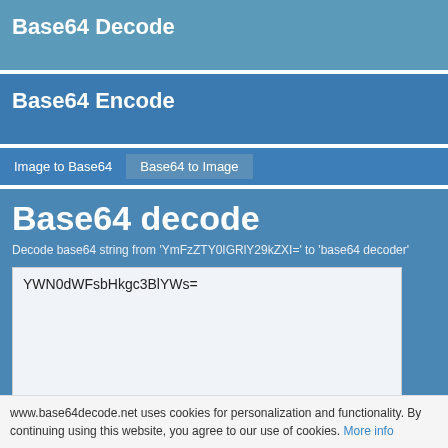Base64 Decode
Base64 Encode
Image to Base64
Base64 to Image
Base64 decode
Decode base64 string from 'YmFzZTY0IGRlY29kZXI=' to 'base64 decoder'
YWN0dWFsbHkgc3BlYWs=
www.base64decode.net uses cookies for personalization and functionality. By continuing using this website, you agree to our use of cookies. More info